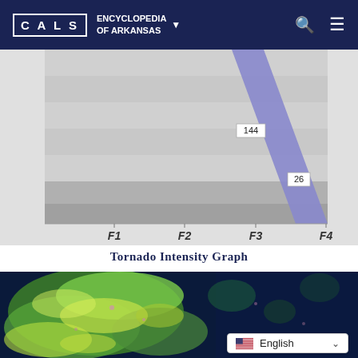CALS ENCYCLOPEDIA OF ARKANSAS
[Figure (continuous-plot): Tornado intensity bar chart (partial view, cropped top) showing descending bars from F1 to F4. A diagonal line goes from upper-left to lower-right. Data labels visible: 144 at F3, 26 at F4. X-axis labels: F1, F2, F3, F4.]
Tornado Intensity Graph
[Figure (map): Satellite or false-color map of Arkansas showing terrain/vegetation data in green, yellow, and dark blue tones.]